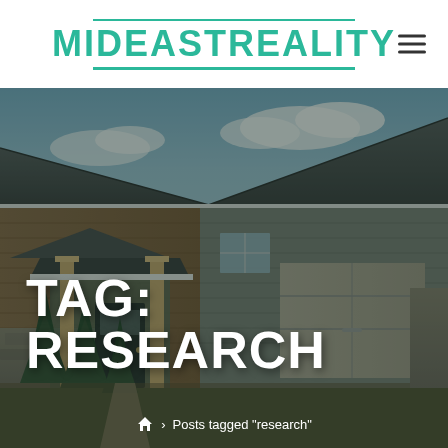MIDEASTREALITY
[Figure (photo): Exterior photo of a residential house with dark gray roof, cedar shake siding, covered porch with columns, attached garage, stone accents, evergreen shrubs, and a blue sky with clouds. Image is darkened with a semi-transparent overlay.]
TAG: RESEARCH
Posts tagged "research"